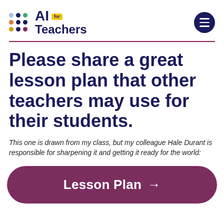[Figure (logo): AI for Teachers logo with colorful dot grid and bold text]
Please share a great lesson plan that other teachers may use for their students.
This one is drawn from my class, but my colleague Hale Durant is responsible for sharpening it and getting it ready for the world:
Lesson Plan →